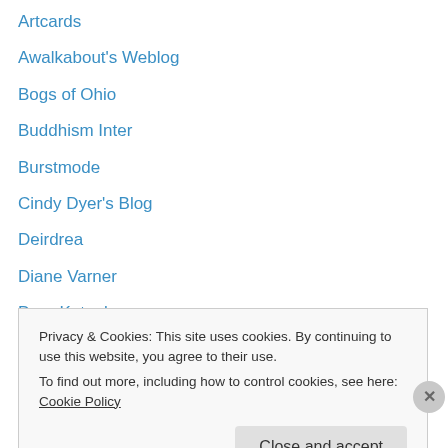Artcards
Awalkabout's Weblog
Bogs of Ohio
Buddhism Inter
Burstmode
Cindy Dyer's Blog
Deirdrea
Diane Varner
Drue Kataoka
ImageGuy
kcjewel
Maggie\'s Camera
Margie Guyot
Privacy & Cookies: This site uses cookies. By continuing to use this website, you agree to their use.
To find out more, including how to control cookies, see here: Cookie Policy
Close and accept